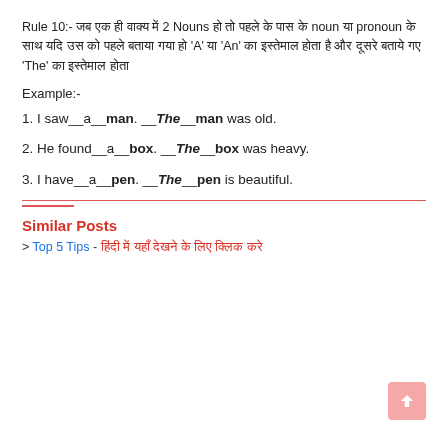Rule 10:- जब एक ही वाक्य में 2 Nouns हो तो पहले के पास के noun या pronoun के साथ यदि उस को पहले बताया गया हो 'A' या 'An' का इस्तेमाल होता है और दूसरे बताये गए 'The' का इस्तेमाल होता
Example:-
1. I saw__a__man. __The__man was old.
2. He found__a__box. __The__box was heavy.
3. I have__a__pen. __The__pen is beautiful.
Similar Posts
> Top 5 Tips - हिंदी में यहाँ देखने के लिए क्लिक करे